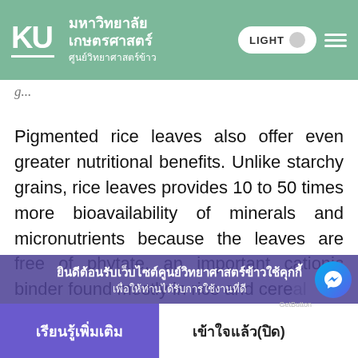KU มหาวิทยาลัยเกษตรศาสตร์ ศูนย์วิทยาศาสตร์ข้าว | LIGHT
Pigmented rice leaves also offer even greater nutritional benefits. Unlike starchy grains, rice leaves provides 10 to 50 times more bioavailability of minerals and micronutrients because the leaves are free of phytate, an important cationic binder found mostly in rice and cereal grains
ยินดีต้อนรับเว็บไซต์คูนย์วิทยาศาสตร์ข้าวใช้คุกกี้เพื่อให้ท่านได้รับการใช้งานที่ดี
เรียนรู้เพิ่มเติม | เข้าใจแล้ว(ปิด)